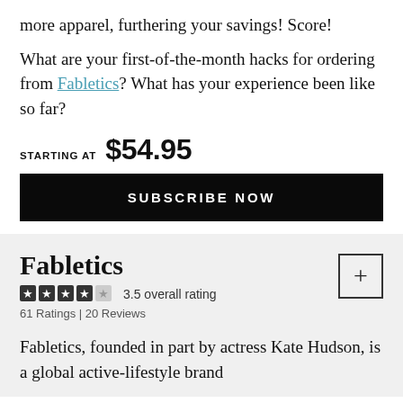more apparel, furthering your savings! Score!
What are your first-of-the-month hacks for ordering from Fabletics? What has your experience been like so far?
STARTING AT  $54.95
SUBSCRIBE NOW
Fabletics
3.5 overall rating
61 Ratings | 20 Reviews
Fabletics, founded in part by actress Kate Hudson, is a global active-lifestyle brand